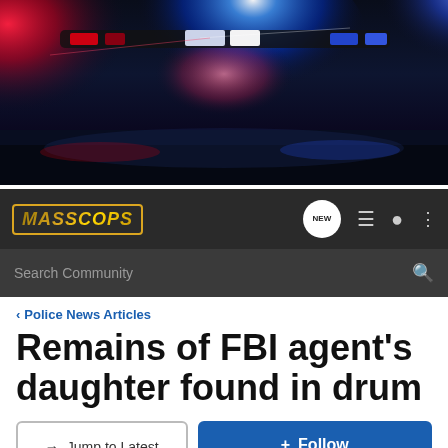[Figure (photo): Police car with red and blue flashing lights at night, dark dramatic background]
MASSCOPS | NEW | menu | user | more options | Search Community
< Police News Articles
Remains of FBI agent's daughter found in drum
→ Jump to Latest | + Follow
Not open for further replies.